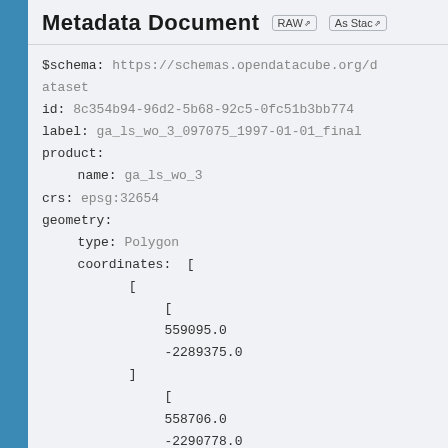Metadata Document  RAW  As Stac
$schema: https://schemas.opendatacube.org/dataset
id: 8c354b94-96d2-5b68-92c5-0fc51b3bb774
label: ga_ls_wo_3_097075_1997-01-01_final
product:
  name: ga_ls_wo_3
crs: epsg:32654
geometry:
  type: Polygon
  coordinates:  [
        [
          [
          559095.0
          -2289375.0
        ]
          [
          558706.0
          -2290778.0